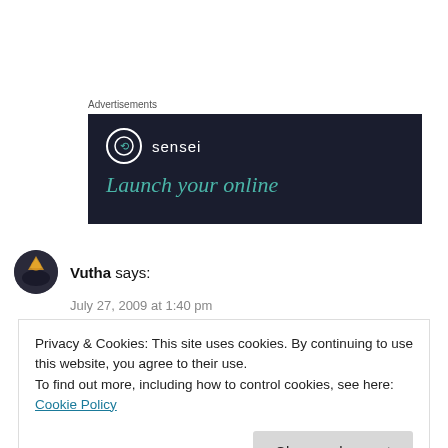Advertisements
[Figure (illustration): Sensei advertisement banner with dark background showing sensei logo and text 'Launch your online']
Vutha says:
July 27, 2009 at 1:40 pm
Privacy & Cookies: This site uses cookies. By continuing to use this website, you agree to their use.
To find out more, including how to control cookies, see here:
Cookie Policy
Close and accept
update in About Phone setting too. Could you please